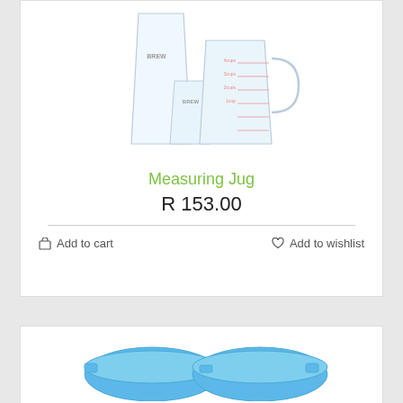[Figure (photo): Three transparent plastic measuring jugs/cups of different sizes with measurement markings, branded 'BREW']
Measuring Jug
R 153.00
Add to cart
Add to wishlist
[Figure (photo): Blue plastic measuring scoops/bowls, two visible]